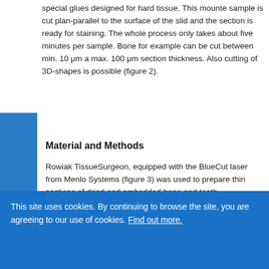special glues designed for hard tissue. This mounted sample is cut plan-parallel to the surface of the slide and the section is ready for staining. The whole process only takes about five minutes per sample. Bone for example can be cut between min. 10 μm and max. 100 μm section thickness. Also cutting of 3D-shapes is possible (figure 2).
Material and Methods
Rowiak TissueSurgeon, equipped with the BlueCut laser from Menlo Systems (figure 3) was used to prepare thin sections of dried and embedded bone and teeth.
This site uses cookies. By continuing to browse the site, you are agreeing to our use of cookies. Find out more.